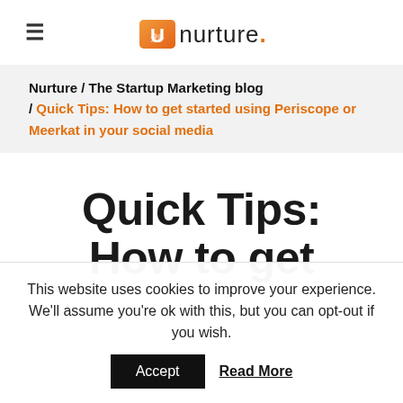≡ nurture.
Nurture / The Startup Marketing blog / Quick Tips: How to get started using Periscope or Meerkat in your social media
Quick Tips: How to get
This website uses cookies to improve your experience. We'll assume you're ok with this, but you can opt-out if you wish. Accept Read More